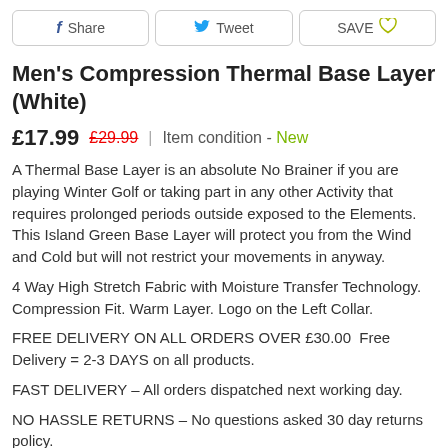Share   Tweet   SAVE ♡
Men's Compression Thermal Base Layer (White)
£17.99  £29.99  |  Item condition - New
A Thermal Base Layer is an absolute No Brainer if you are playing Winter Golf or taking part in any other Activity that requires prolonged periods outside exposed to the Elements. This Island Green Base Layer will protect you from the Wind and Cold but will not restrict your movements in anyway.
4 Way High Stretch Fabric with Moisture Transfer Technology. Compression Fit. Warm Layer. Logo on the Left Collar.
FREE DELIVERY ON ALL ORDERS OVER £30.00  Free Delivery = 2-3 DAYS on all products.
FAST DELIVERY – All orders dispatched next working day.
NO HASSLE RETURNS – No questions asked 30 day returns policy.